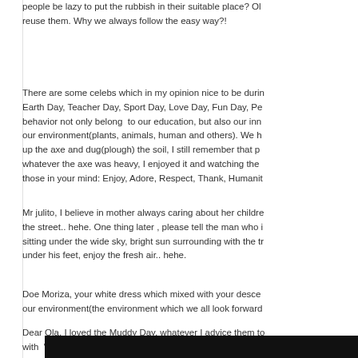people be lazy to put the rubbish in their suitable place? Ol reuse them. Why we always follow the easy way?!
There are some celebs which in my opinion nice to be durin Earth Day, Teacher Day, Sport Day, Love Day, Fun Day, Pe behavior not only belong  to our education, but also our inn our environment(plants, animals, human and others). We h up the axe and dug(plough) the soil, I still remember that p whatever the axe was heavy, I enjoyed it and watching the those in your mind: Enjoy, Adore, Respect, Thank, Humanit
Mr julito, I believe in mother always caring about her childre the street.. hehe. One thing later , please tell the man who sitting under the wide sky, bright sun surrounding with the t under his feet, enjoy the fresh air.. hehe.
Doe Moriza, your white dress which mixed with your desce our environment(the environment which we all look forward
Dear Ola, I loved the Muddy Day, whatever I advice them to with  “Persil” and take a path after finish ..HEEE
[Figure (other): Black bar at bottom of page]